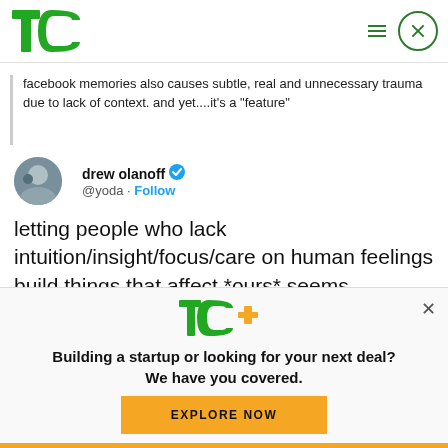TechCrunch logo and navigation
facebook memories also causes subtle, real and unnecessary trauma due to lack of context. and yet....it's a "feature"
drew olanoff @yoda · Follow
letting people who lack intuition/insight/focus/care on human feelings build things that affect *ours* seems ludicrous. but it happens every single day.
[Figure (screenshot): TechCrunch+ promotional ad: Building a startup or looking for your next deal? We have you covered. EXPLORE NOW button.]